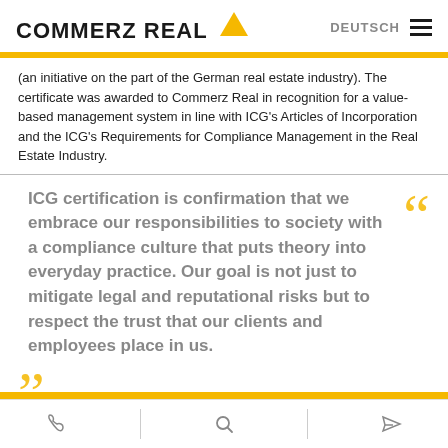COMMERZ REAL | DEUTSCH
(an initiative on the part of the German real estate industry). The certificate was awarded to Commerz Real in recognition for a value-based management system in line with ICG's Articles of Incorporation and the ICG's Requirements for Compliance Management in the Real Estate Industry.
ICG certification is confirmation that we embrace our responsibilities to society with a compliance culture that puts theory into everyday practice. Our goal is not just to mitigate legal and reputational risks but to respect the trust that our clients and employees place in us.
Dirk Schuster, Member of the Commerz Real Management Board
phone | search | share icons